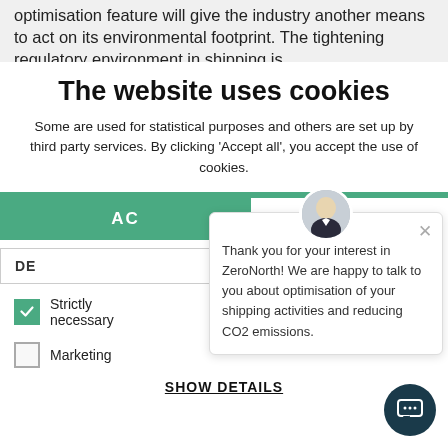optimisation feature will give the industry another means to act on its environmental footprint. The tightening regulatory environment in shipping is
The website uses cookies
Some are used for statistical purposes and others are set up by third party services. By clicking 'Accept all', you accept the use of cookies.
AC
DE
Strictly necessary
Marketing
Thank you for your interest in ZeroNorth! We are happy to talk to you about optimisation of your shipping activities and reducing CO2 emissions.
SHOW DETAILS